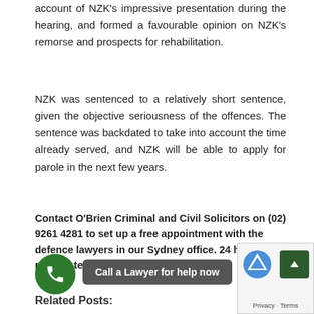account of NZK's impressive presentation during the hearing, and formed a favourable opinion on NZK's remorse and prospects for rehabilitation.
NZK was sentenced to a relatively short sentence, given the objective seriousness of the offences. The sentence was backdated to take into account the time already served, and NZK will be able to apply for parole in the next few years.
Contact O'Brien Criminal and Civil Solicitors on (02) 9261 4281 to set up a free appointment with the defence lawyers in our Sydney office. 24 hour phone / text: 0421 373 961
Related Posts:
[Figure (other): Green circular phone icon button]
Call a Lawyer for help now
[Figure (other): Privacy & Terms reCAPTCHA widget with scroll-to-top button]